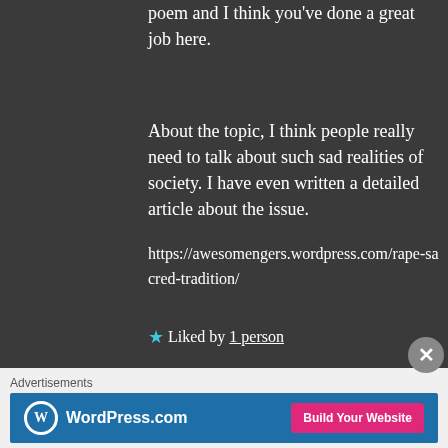poem and I think you've done a great job here.
About the topic, I think people really need to talk about such sad realities of society. I have even written a detailed article about the issue.
https://awesomengers.wordpress.com/rape-sacred-tradition/
★ Liked by 1 person
Advertisements
[Figure (screenshot): WordPress.com advertisement banner with logo on left and 'Build Your Website' pink button on right]